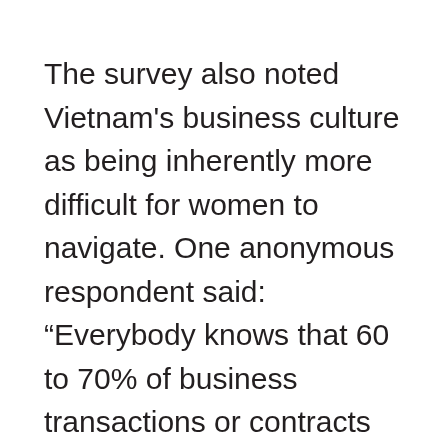The survey also noted Vietnam's business culture as being inherently more difficult for women to navigate. One anonymous respondent said: “Everybody knows that 60 to 70% of business transactions or contracts are signed with state partners over party tables. Men have more advantages than women in the sense that they can drink and make outside contacts. Women can also invite partners to eat or drink, but it is still constrained. First, we are Asian women, so we cannot do that